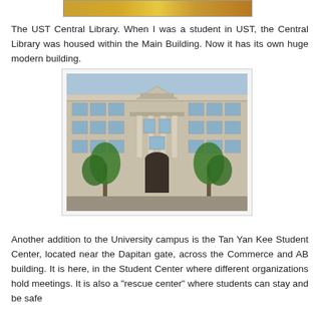[Figure (photo): Partial top image cropped at the top of the page, appears to show a colorful scene (possibly a building or event)]
The UST Central Library. When I was a student in UST, the Central Library was housed within the Main Building. Now it has its own huge modern building.
[Figure (photo): Photograph of a large classical-style university building (UST Central Library) with columns, arched entrance, multiple floors of windows, and palm trees in the foreground]
Another addition to the University campus is the Tan Yan Kee Student Center, located near the Dapitan gate, across the Commerce and AB building. It is here, in the Student Center where different organizations hold meetings. It is also a "rescue center" where students can stay and be safe